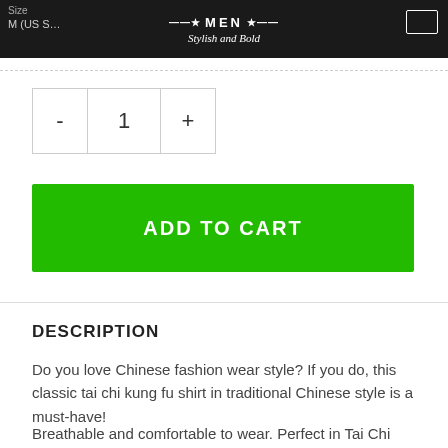MEN Stylish and Bold
Size   M (US S…
- 1 +
ADD TO CART
DESCRIPTION
Do you love Chinese fashion wear style? If you do, this classic tai chi kung fu shirt in traditional Chinese style is a must-have!
Breathable and comfortable to wear. Perfect in Tai Chi practice, the uniform does not fit close to the body and make